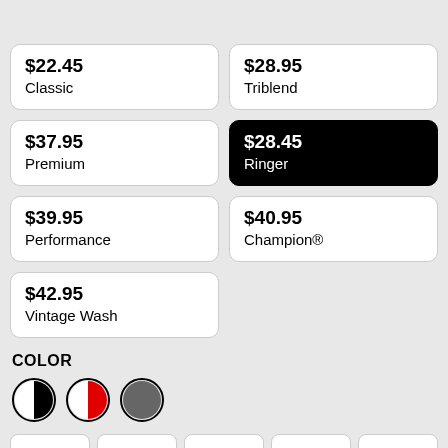$22.45
Classic
$28.95
Triblend
$37.95
Premium
$28.45
Ringer
$39.95
Performance
$40.95
Champion®
$42.95
Vintage Wash
COLOR
[Figure (illustration): Three color swatches: black/white split circle, white/red split circle, dark gray circle, each with black border]